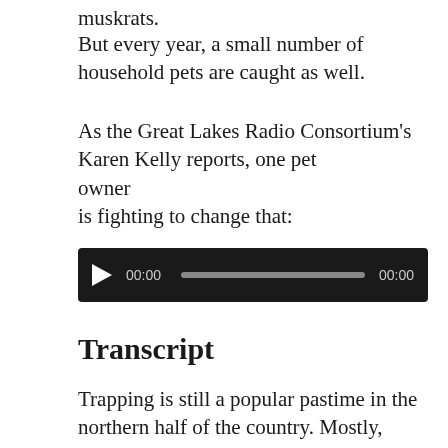muskrats.
But every year, a small number of household pets are caught as well.
As the Great Lakes Radio Consortium's Karen Kelly reports, one pet owner is fighting to change that:
[Figure (other): Audio player with play button, time display 00:00, progress bar, and end time 00:00 on a dark background]
Transcript
Trapping is still a popular pastime in the northern half of the country. Mostly, trappers are